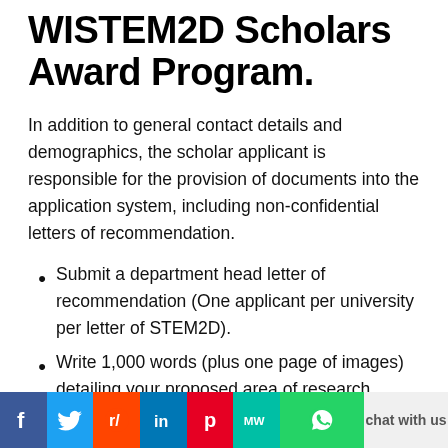WISTEM2D Scholars Award Program.
In addition to general contact details and demographics, the scholar applicant is responsible for the provision of documents into the application system, including non-confidential letters of recommendation.
Submit a department head letter of recommendation (One applicant per university per letter of STEM2D).
Write 1,000 words (plus one page of images) detailing your proposed area of research.
[Figure (infographic): Social media sharing bar with Facebook, Twitter, Reddit, LinkedIn, Pinterest, MW, WhatsApp buttons and 'chat with us' text]